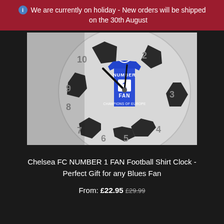ℹ We are currently on holiday - New orders will be shipped on the 30th August
[Figure (photo): A football-shaped wall clock with a blue Chelsea FC style football shirt in the center reading NUMBER 1 FAN and CHAMPIONS OF EUROPE. The clock has numbers 2-10 visible around the edge on a white/silver circular face with black football panel accents.]
Chelsea FC NUMBER 1 FAN Football Shirt Clock - Perfect Gift for any Blues Fan
From: £22.95 £29.99